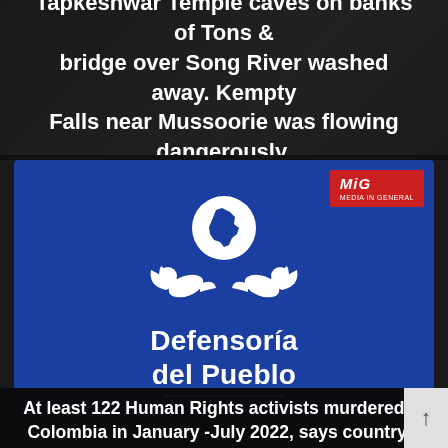Tapkeshwar Temple caves on banks of Tons & bridge over Song River washed away. Kempty Falls near Mussoorie was flowing dangerously.
[Figure (logo): Defensoría del Pueblo logo — two white doves facing each other with wings spread, a circular emblem above showing a map of Colombia, on a blue background. MIG badge in red top right.]
At least 122 Human Rights activists murdered in Colombia in January -July 2022, says country's human rights ombudsman. Defensoría del Pueblo says in 2021, 90 activists were murdered in same period. 27 of assassinated persons were